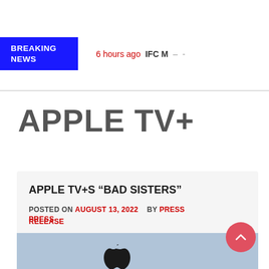BREAKING NEWS | 6 hours ago  IFC M —  -
APPLE TV+
APPLE TV+S “BAD SISTERS”
POSTED ON AUGUST 13, 2022   BY PRESS RELEASE
[Figure (photo): Apple TV+ logo on a light blue-grey background]